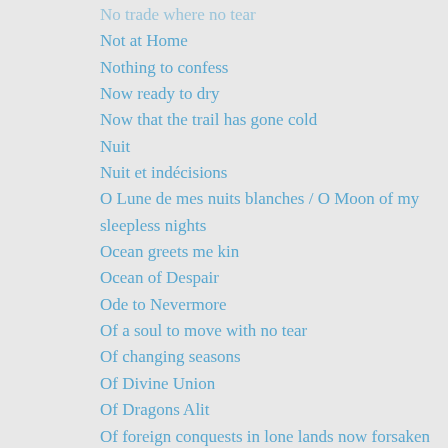No trade where no tear
Not at Home
Nothing to confess
Now ready to dry
Now that the trail has gone cold
Nuit
Nuit et indécisions
O Lune de mes nuits blanches / O Moon of my sleepless nights
Ocean greets me kin
Ocean of Despair
Ode to Nevermore
Of a soul to move with no tear
Of changing seasons
Of Divine Union
Of Dragons Alit
Of foreign conquests in lone lands now forsaken
Of forgotten sorrows
Of heavenly bloom
Of innocence lost
Of love and change